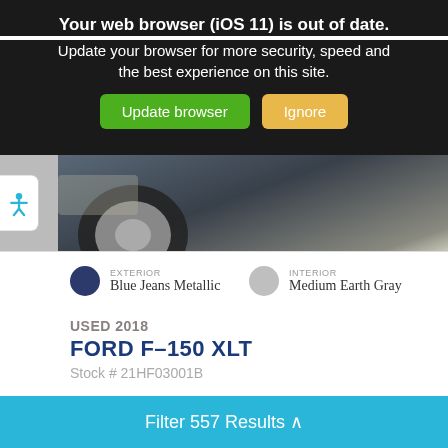Your web browser (iOS 11) is out of date.
Update your browser for more security, speed and the best experience on this site.
[Figure (screenshot): Browser update warning banner with Update browser (green) and Ignore (yellow/orange) buttons on dark background]
[Figure (photo): Partial view of a dark blue Ford F-150 truck front end and wheel, photographed from low angle]
EXTERIOR
Blue Jeans Metallic
INTERIOR
Medium Earth Gray
USED 2018
FORD F-150 XLT
Stock # 21HF03001B
Mileage: 68,025
Body Style: Truck
Drivetrain: 4WD
Filter 557 Results ^